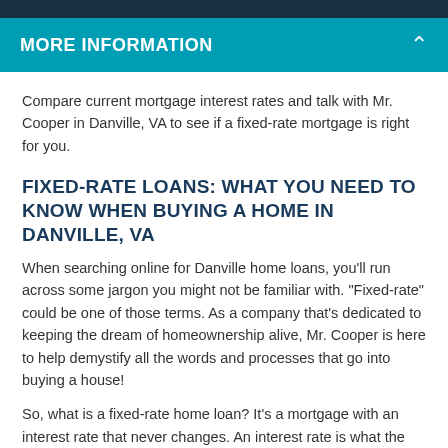MORE INFORMATION
Compare current mortgage interest rates and talk with Mr. Cooper in Danville, VA to see if a fixed-rate mortgage is right for you.
FIXED-RATE LOANS: WHAT YOU NEED TO KNOW WHEN BUYING A HOME IN DANVILLE, VA
When searching online for Danville home loans, you'll run across some jargon you might not be familiar with. "Fixed-rate" could be one of those terms. As a company that's dedicated to keeping the dream of homeownership alive, Mr. Cooper is here to help demystify all the words and processes that go into buying a house!
So, what is a fixed-rate home loan? It's a mortgage with an interest rate that never changes. An interest rate is what the lender charges for loaning you money. It is expressed as a percentage.